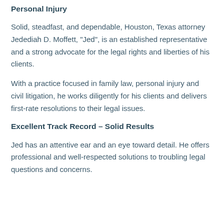Personal Injury
Solid, steadfast, and dependable, Houston, Texas attorney Jedediah D. Moffett, "Jed", is an established representative and a strong advocate for the legal rights and liberties of his clients.
With a practice focused in family law, personal injury and civil litigation, he works diligently for his clients and delivers first-rate resolutions to their legal issues.
Excellent Track Record – Solid Results
Jed has an attentive ear and an eye toward detail. He offers professional and well-respected solutions to troubling legal questions and concerns.